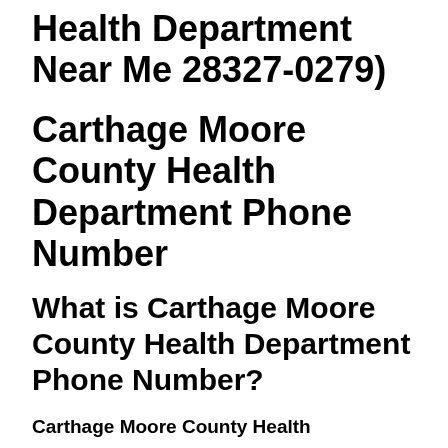Health Department Near Me 28327-0279)
Carthage Moore County Health Department Phone Number
What is Carthage Moore County Health Department Phone Number?
Carthage Moore County Health Department phone number to talk to a real person at Moore County Health Department is 910-947-3300